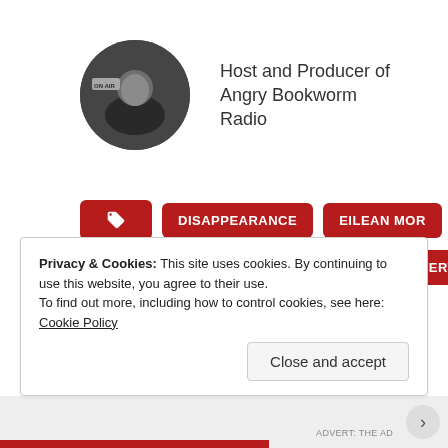[Figure (photo): Circular avatar photo of a person in a radio studio, black and white, with 'ON AIR' sign visible]
Host and Producer of Angry Bookworm Radio
DISAPPEARANCE
EILEAN MOR
LIGHTHOUSE
MISSING PERSON
MYSTERY
TRUE CRIME
UNSOLVED
Privacy & Cookies: This site uses cookies. By continuing to use this website, you agree to their use.
To find out more, including how to control cookies, see here: Cookie Policy
Close and accept